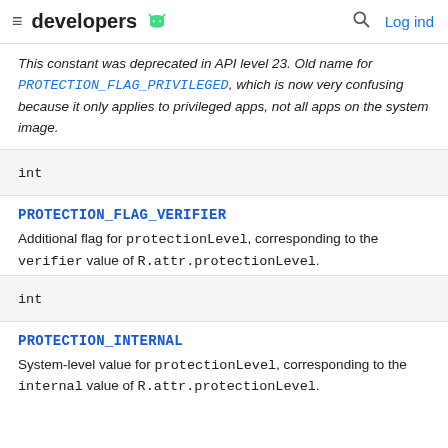developers
This constant was deprecated in API level 23. Old name for PROTECTION_FLAG_PRIVILEGED, which is now very confusing because it only applies to privileged apps, not all apps on the system image.
int
PROTECTION_FLAG_VERIFIER
Additional flag for protectionLevel, corresponding to the verifier value of R.attr.protectionLevel.
int
PROTECTION_INTERNAL
System-level value for protectionLevel, corresponding to the internal value of R.attr.protectionLevel.